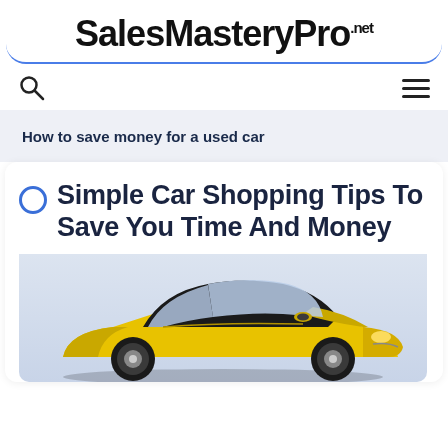SalesMasteryPro.net
How to save money for a used car
Simple Car Shopping Tips To Save You Time And Money
[Figure (photo): Yellow sports car (Chevrolet Camaro style) photographed from front-left angle against a light background]